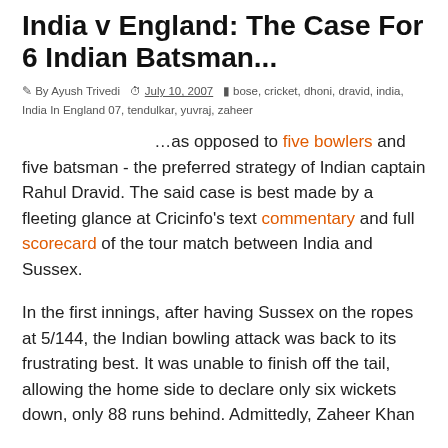India v England: The Case For 6 Indian Batsman...
By Ayush Trivedi   July 10, 2007   bose, cricket, dhoni, dravid, india, India In England 07, tendulkar, yuvraj, zaheer
...as opposed to five bowlers and five batsman - the preferred strategy of Indian captain Rahul Dravid. The said case is best made by a fleeting glance at Cricinfo's text commentary and full scorecard of the tour match between India and Sussex.
In the first innings, after having Sussex on the ropes at 5/144, the Indian bowling attack was back to its frustrating best. It was unable to finish off the tail, allowing the home side to declare only six wickets down, only 88 runs behind. Admittedly, Zaheer Khan